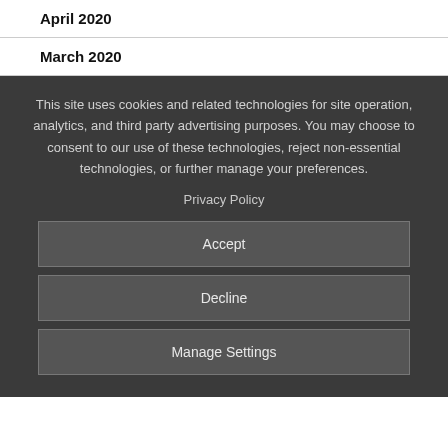April 2020
March 2020
This site uses cookies and related technologies for site operation, analytics, and third party advertising purposes. You may choose to consent to our use of these technologies, reject non-essential technologies, or further manage your preferences.
Privacy Policy
Accept
Decline
Manage Settings